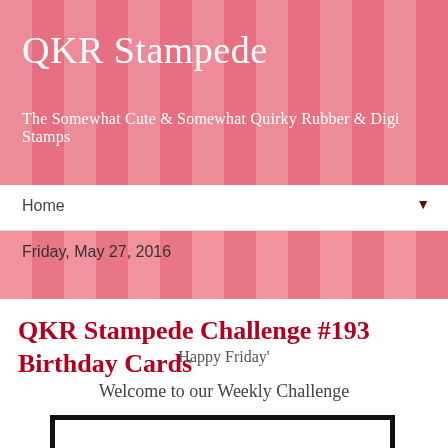QKR Stampede
The Somewhat Cute & Somewhat Quirky Rubber & Digi Stamps
Home ▼
Friday, May 27, 2016
QKR Stampede Challenge #193 Birthday Cards
Happy Friday'
Welcome to our Weekly Challenge
[Figure (illustration): QKR Stampede logo image with bold black text on white background with thick black border]